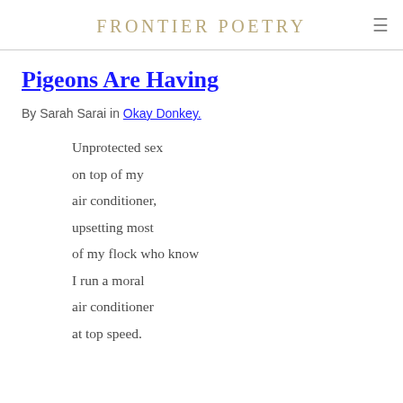FRONTIER POETRY
Pigeons Are Having
By Sarah Sarai in Okay Donkey.
Unprotected sex
on top of my
air conditioner,
upsetting most
of my flock who know
I run a moral
air conditioner
at top speed.